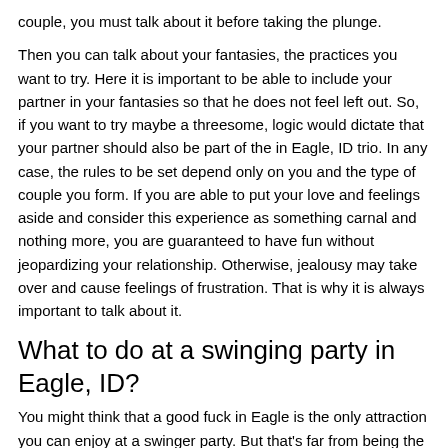couple, you must talk about it before taking the plunge.
Then you can talk about your fantasies, the practices you want to try. Here it is important to be able to include your partner in your fantasies so that he does not feel left out. So, if you want to try maybe a threesome, logic would dictate that your partner should also be part of the in Eagle, ID trio. In any case, the rules to be set depend only on you and the type of couple you form. If you are able to put your love and feelings aside and consider this experience as something carnal and nothing more, you are guaranteed to have fun without jeopardizing your relationship. Otherwise, jealousy may take over and cause feelings of frustration. That is why it is always important to talk about it.
What to do at a swinging party in Eagle, ID?
You might think that a good fuck in Eagle is the only attraction you can enjoy at a swinger party. But that's far from being the case. You'll be spoilt for choice between the various options available to you to have a good time on the spot. You will be able to make a naughty meeting, a cougar meeting, a fleeting meeting